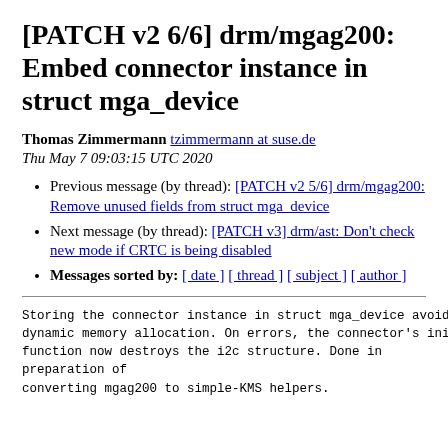[PATCH v2 6/6] drm/mgag200: Embed connector instance in struct mga_device
Thomas Zimmermann tzimmermann at suse.de
Thu May 7 09:03:15 UTC 2020
Previous message (by thread): [PATCH v2 5/6] drm/mgag200: Remove unused fields from struct mga_device
Next message (by thread): [PATCH v3] drm/ast: Don't check new mode if CRTC is being disabled
Messages sorted by: [ date ] [ thread ] [ subject ] [ author ]
Storing the connector instance in struct mga_device avoids some
dynamic memory allocation. On errors, the connector's initializer
function now destroys the i2c structure. Done in preparation of
converting mgag200 to simple-KMS helpers.